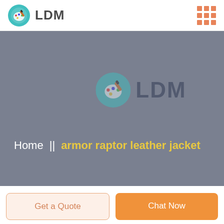LDM
[Figure (screenshot): LDM website hero banner showing logo watermark and breadcrumb navigation: Home || armor raptor leather jacket]
Home  ||  armor raptor leather jacket
Get a Quote
Chat Now